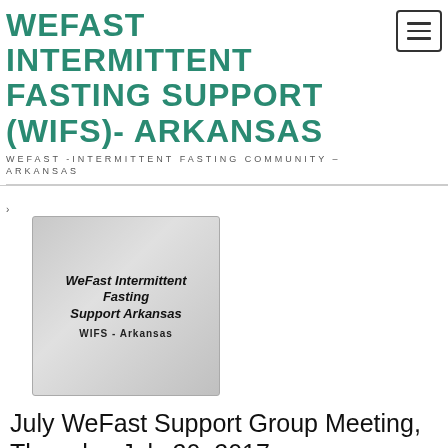WEFAST INTERMITTENT FASTING SUPPORT (WIFS)- ARKANSAS
WEFAST -INTERMITTENT FASTING COMMUNITY – ARKANSAS
[Figure (logo): WeFast Intermittent Fasting Support Arkansas logo with text 'WeFast Intermittent Fasting Support Arkansas' and 'WIFS - Arkansas' on a grey background showing hands]
July WeFast Support Group Meeting, Thursday July 20, 2017